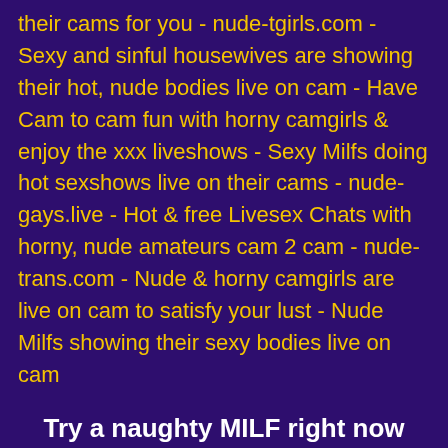their cams for you - nude-tgirls.com - Sexy and sinful housewives are showing their hot, nude bodies live on cam - Have Cam to cam fun with horny camgirls & enjoy the xxx liveshows - Sexy Milfs doing hot sexshows live on their cams - nude-gays.live - Hot & free Livesex Chats with horny, nude amateurs cam 2 cam - nude-trans.com - Nude & horny camgirls are live on cam to satisfy your lust - Nude Milfs showing their sexy bodies live on cam
Try a naughty MILF right now
You never have to take anyone's word for any of this. You can see it all for yourself right now. These naughty MILFs on cam are just waiting to show you a good time. They want to use their bodies to make you happy and they want